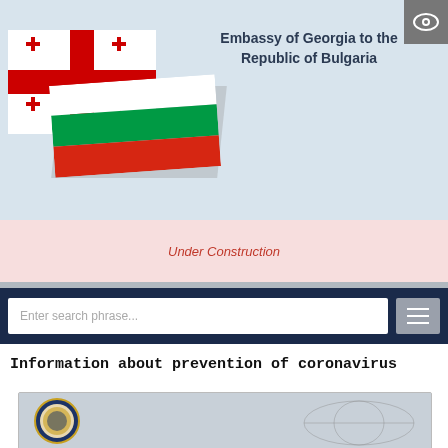Embassy of Georgia to the Republic of Bulgaria
Under Construction
Enter search phrase...
Information about prevention of coronavirus
[Figure (photo): Coronavirus prevention information image with Georgian state seal and globe graphic]